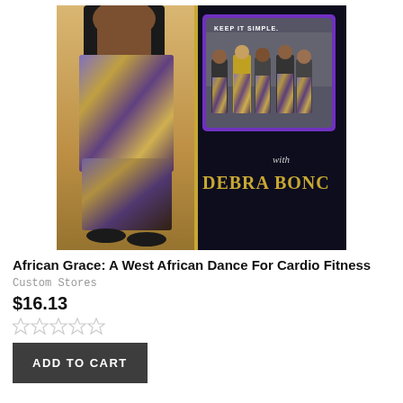[Figure (photo): Product image for African Grace: A West African Dance For Cardio Fitness DVD with Debra Bonc. Shows a dancer from behind in colorful patterned pants on the left, and a group of dancers in a gym with 'Keep It Simple' text on the right panel.]
African Grace: A West African Dance For Cardio Fitness
Custom Stores
$16.13
[Figure (other): Five empty star rating icons]
ADD TO CART